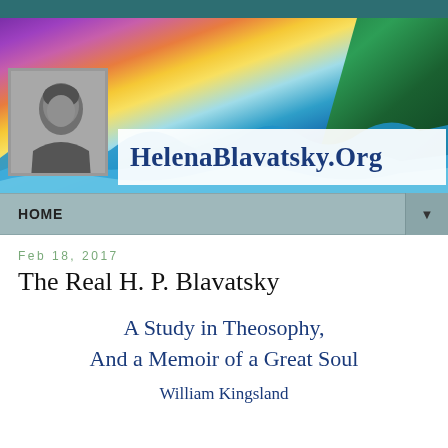[Figure (illustration): Website banner for HelenaBlavatsky.Org featuring a colorful fantasy landscape with ocean waves, mountains, tropical foliage, a glowing sun, and purple/orange/blue sky. A black-and-white portrait photo of Helena Blavatsky is overlaid on the left. The site name 'HelenaBlavatsky.Org' appears in bold dark blue serif text on a white bar.]
HOME ▼
Feb 18, 2017
The Real H. P. Blavatsky
A Study in Theosophy, And a Memoir of a Great Soul
William Kingsland